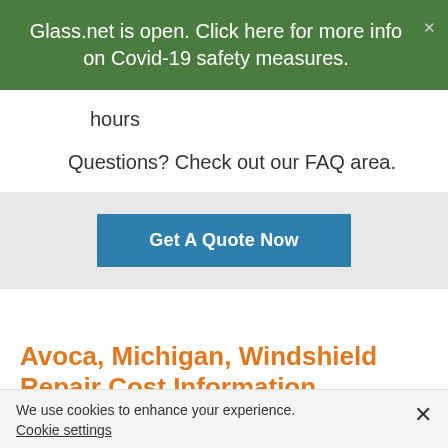Glass.net is open. Click here for more info on Covid-19 safety measures.
hours
Questions? Check out our FAQ area.
Get A Quote Now
Avoca, Michigan, Windshield Repair Cost Information
Windshield Service Cost Factors
We use cookies to enhance your experience. Cookie settings